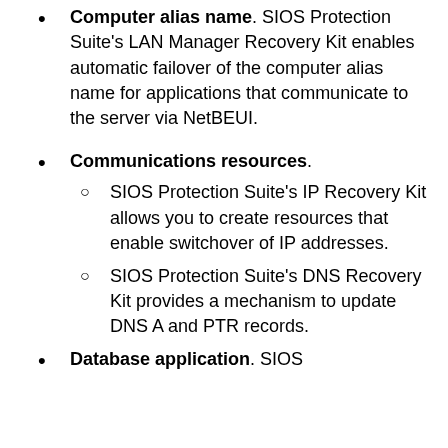directory on a shared drive.
Computer alias name. SIOS Protection Suite's LAN Manager Recovery Kit enables automatic failover of the computer alias name for applications that communicate to the server via NetBEUI.
Communications resources.
SIOS Protection Suite's IP Recovery Kit allows you to create resources that enable switchover of IP addresses.
SIOS Protection Suite's DNS Recovery Kit provides a mechanism to update DNS A and PTR records.
Database application. SIOS